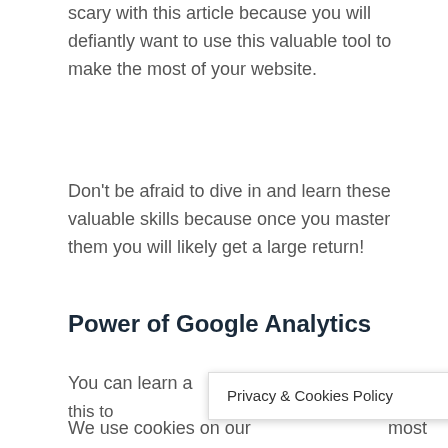scary with this article because you will defiantly want to use this valuable tool to make the most of your website.
Don't be afraid to dive in and learn these valuable skills because once you master them you will likely get a large return!
Power of Google Analytics
You can learn a lot of information from this to most
Privacy & Cookies Policy